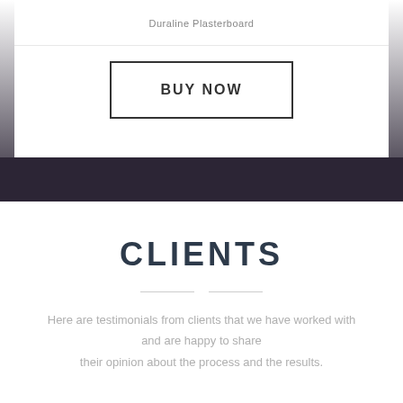Duraline Plasterboard
BUY NOW
CLIENTS
Here are testimonials from clients that we have worked with and are happy to share their opinion about the process and the results.